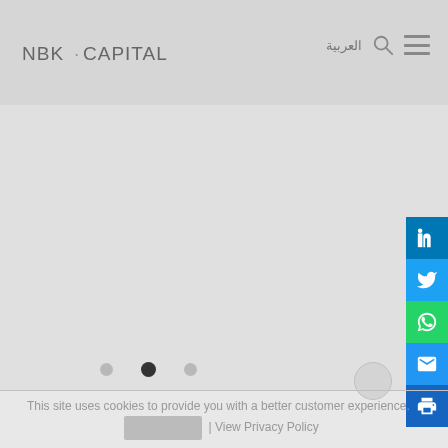NBK·CAPITAL
العربية
[Figure (screenshot): NBK Capital website screenshot showing navigation header with logo, Arabic language toggle, search icon, and hamburger menu. Main content area is a light grey carousel with three navigation dots (second dot active). Right side shows social media sharing buttons: LinkedIn (blue), Twitter (blue), WhatsApp (green), Email (blue), Print (blue). Bottom shows cookie consent notice: 'This site uses cookies to provide you with a better customer experience.' with a grey button and '| View Privacy Policy' link.]
This site uses cookies to provide you with a better customer experience. | View Privacy Policy